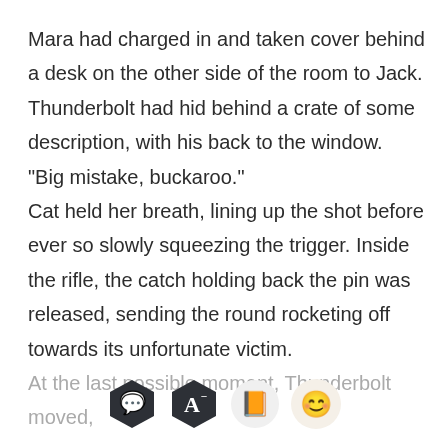Mara had charged in and taken cover behind a desk on the other side of the room to Jack. Thunderbolt had hid behind a crate of some description, with his back to the window. “Big mistake, buckaroo.” Cat held her breath, lining up the shot before ever so slowly squeezing the trigger. Inside the rifle, the catch holding back the pin was released, sending the round rocketing off towards its unfortunate victim. At the last possible moment, Thunderbolt moved,
[Figure (other): App toolbar with four icons: dark hexagon chat bubble, dark hexagon letter A with minus superscript, light circle orange book, light circle emoji face]